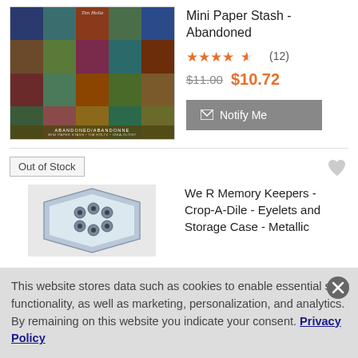[Figure (photo): Product image of Mini Paper Stash - Abandoned, a colorful mosaic/collage of textured paper squares in earth tones, blues, greens, and oranges, with text 'ABANDONED/ABANDONNE' at the bottom.]
Mini Paper Stash - Abandoned
★★★★½ (12)
$11.00  $10.72
✉ Notify Me
Out of Stock
[Figure (photo): Product image of We R Memory Keepers Crop-A-Dile Eyelets storage case - metallic, showing a clear plastic hexagonal container with metallic eyelets inside.]
We R Memory Keepers - Crop-A-Dile - Eyelets and Storage Case - Metallic
This website stores data such as cookies to enable essential site functionality, as well as marketing, personalization, and analytics. By remaining on this website you indicate your consent. Privacy Policy